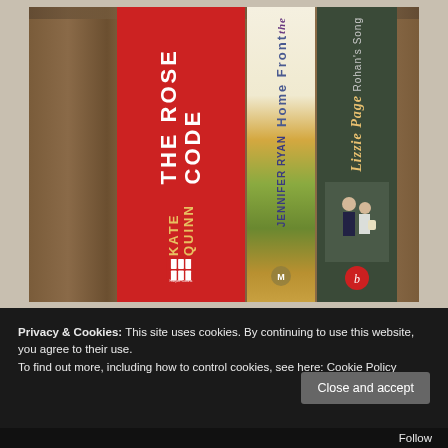[Figure (photo): Photo of three book spines standing upright on a wooden surface. Left book: 'The Rose Code' by Kate Quinn, red spine with white title text and gold author name, HarperCollins logo at bottom. Middle book: 'The Home Front' by Jennifer Ryan, cream/floral spine with yellow and green gradient at base. Right book: 'Rohan's Song' by Lizzie Page, dark olive-green spine with gold italic title, illustration of two figures near bottom, and a red circular publisher logo.]
Privacy & Cookies: This site uses cookies. By continuing to use this website, you agree to their use.
To find out more, including how to control cookies, see here: Cookie Policy
Close and accept
Follow